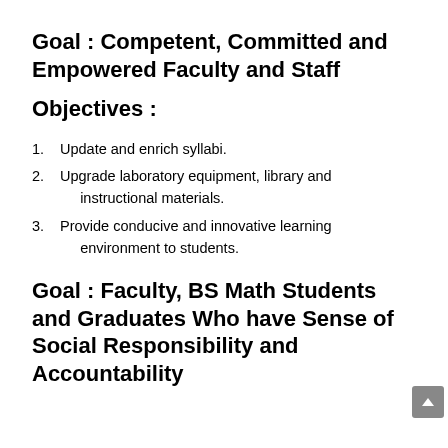Goal : Competent, Committed and Empowered Faculty and Staff
Objectives :
1. Update and enrich syllabi.
2. Upgrade laboratory equipment, library and instructional materials.
3. Provide conducive and innovative learning environment to students.
Goal : Faculty, BS Math Students and Graduates Who have Sense of Social Responsibility and Accountability